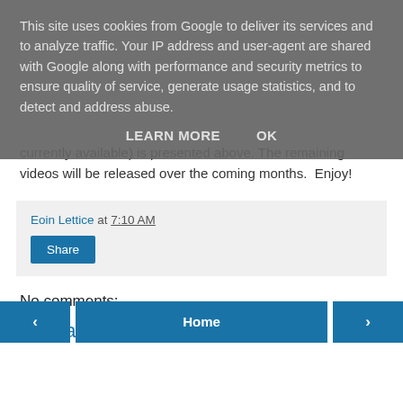This site uses cookies from Google to deliver its services and to analyze traffic. Your IP address and user-agent are shared with Google along with performance and security metrics to ensure quality of service, generate usage statistics, and to detect and address abuse.
LEARN MORE    OK
currently available) is presented above. The remaining videos will be released over the coming months.  Enjoy!
Eoin Lettice at 7:10 AM
Share
No comments:
Post a Comment
‹    Home    ›